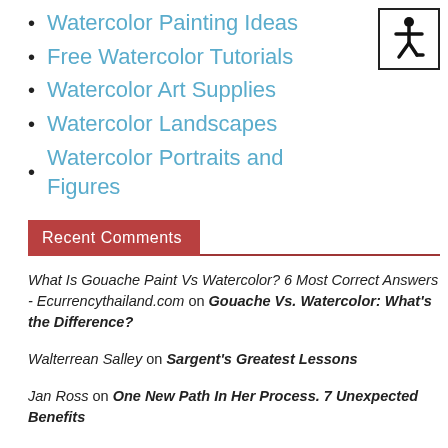Watercolor Painting Ideas
Free Watercolor Tutorials
Watercolor Art Supplies
Watercolor Landscapes
Watercolor Portraits and Figures
[Figure (illustration): Accessibility icon (wheelchair symbol) in a bordered box, top-right corner]
Recent Comments
What Is Gouache Paint Vs Watercolor? 6 Most Correct Answers - Ecurrencythailand.com on Gouache Vs. Watercolor: What’s the Difference?
Walterrean Salley on Sargent’s Greatest Lessons
Jan Ross on One New Path In Her Process. 7 Unexpected Benefits